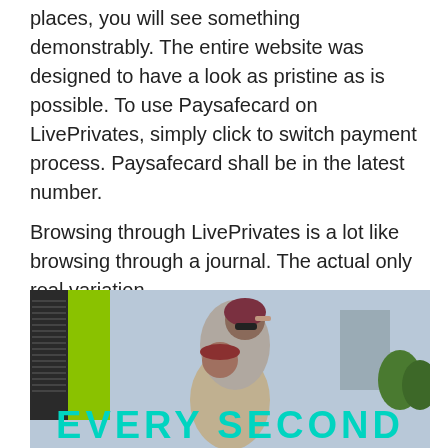places, you will see something demonstrably. The entire website was designed to have a look as pristine as is possible. To use Paysafecard on LivePrivates, simply click to switch payment process. Paysafecard shall be in the latest number.
Browsing through LivePrivates is a lot like browsing through a journal. The actual only real variation,
[Figure (photo): Photo of two people outdoors, one giving the other a piggyback ride. Colorful urban background with green wall. Overlaid bold cyan/teal text reading 'EVERY SECOND' at the bottom of the image.]